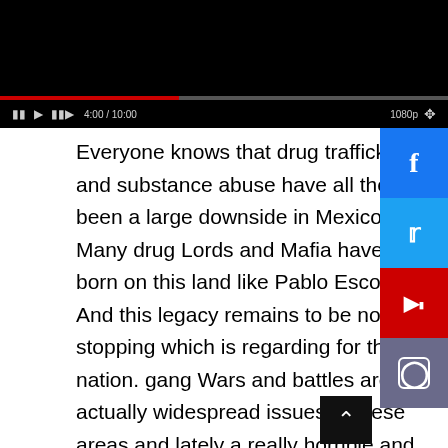[Figure (screenshot): Video player with black background, red progress bar, and playback controls showing time 4:00/10:00 and 1080p quality setting]
Everyone knows that drug trafficking and substance abuse have all the time been a large downside in Mexico. Many drug Lords and Mafia have been born on this land like Pablo Escobar. And this legacy remains to be not stopping which is regarding for the nation. gang Wars and battles are actually widespread issues in these areas and lately a really horrible and violent video of a person got here out in public. It is among the most terrifying footage obtainable on the web as we will see that some people are reducing their ft.
El Weblog Del Narco Viral & Leaked Movies